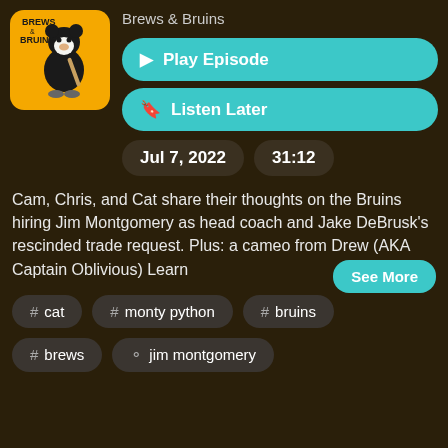[Figure (logo): Brews & Bruins podcast logo on yellow/orange background with hockey player mascot]
Brews & Bruins
▶ Play Episode
🔖 Listen Later
Jul 7, 2022
31:12
Cam, Chris, and Cat share their thoughts on the Bruins hiring Jim Montgomery as head coach and Jake DeBrusk's rescinded trade request. Plus: a cameo from Drew (AKA Captain Oblivious) Learn
See More
# cat
# monty python
# bruins
# brews
person jim montgomery